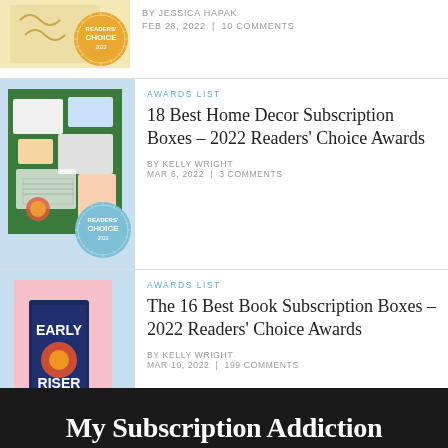[Figure (photo): Partial article thumbnail with Readers Choice 2022 badge, yellow/cream background]
BY JESSICA HAPAK
FEB 28, 2022  |  10 COMMENTS
[Figure (photo): Home decor subscription box items on green background with Readers Choice 2022 badge, light blue card background]
AWARDS LIST
18 Best Home Decor Subscription Boxes – 2022 Readers' Choice Awards
BY KELLY WRIGHT
MAR 6, 2022  |  3 COMMENTS
[Figure (photo): Book 'Early Riser' by Jasper Fforde on pink background with Readers Choice 2022 badge, light blue card background]
AWARDS LIST
The 16 Best Book Subscription Boxes – 2022 Readers' Choice Awards
BY KELLY WRIGHT
MAR 10, 2022  |  199 COMMENTS
My Subscription Addiction